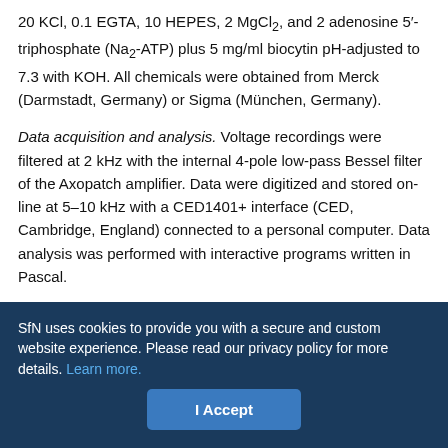20 KCl, 0.1 EGTA, 10 HEPES, 2 MgCl2, and 2 adenosine 5′-triphosphate (Na2-ATP) plus 5 mg/ml biocytin pH-adjusted to 7.3 with KOH. All chemicals were obtained from Merck (Darmstadt, Germany) or Sigma (München, Germany).
Data acquisition and analysis. Voltage recordings were filtered at 2 kHz with the internal 4-pole low-pass Bessel filter of the Axopatch amplifier. Data were digitized and stored on-line at 5–10 kHz with a CED1401+ interface (CED, Cambridge, England) connected to a personal computer. Data analysis was performed with interactive programs written in Pascal.
The input resistance (RN) was estimated from voltage responses to current pulses of 1000 msec duration (−100 pA to +280 pA
SfN uses cookies to provide you with a secure and custom website experience. Please read our privacy policy for more details. Learn more.